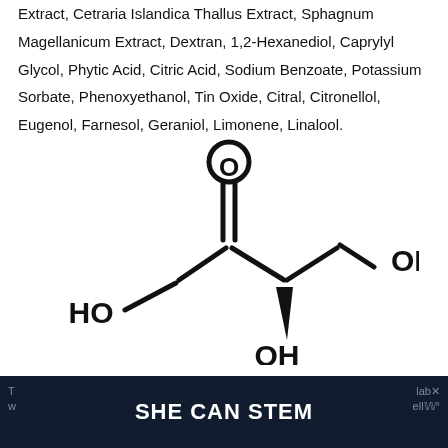Extract, Cetraria Islandica Thallus Extract, Sphagnum Magellanicum Extract, Dextran, 1,2-Hexanediol, Caprylyl Glycol, Phytic Acid, Citric Acid, Sodium Benzoate, Potassium Sorbate, Phenoxyethanol, Tin Oxide, Citral, Citronellol, Eugenol, Farnesol, Geraniol, Limonene, Linalool.
[Figure (engineering-diagram): Chemical structure diagram of a molecule showing a ketone group (C=O), a hydroxymethyl group (HO-CH2-), a chiral center with a downward wedge bond to OH, and a terminal -CH2-OH group. This is the structure of (S)-4-hydroxymethyl-2(3H)-furanone or a related hydroxy-keto compound.]
SHE CAN STEM